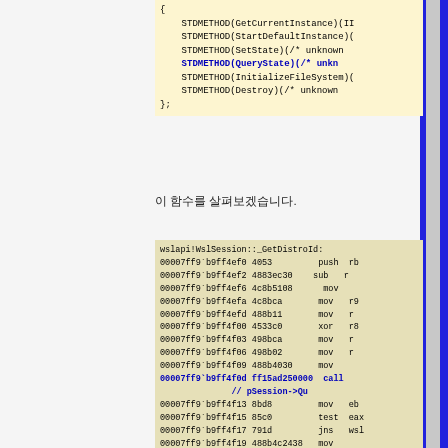[Figure (screenshot): Code box showing C++ interface definition with STDMETHOD declarations, one highlighted in bold blue: STDMETHOD(QueryState)(/* unkn...]
이 함수를 살펴보겠습니다.
[Figure (screenshot): Disassembly listing for wslapi!WslSession::_GetDistroId showing assembly instructions at addresses 00007ff9`b9ff4ef0 through 00007ff9`b9ff4f1e, with one highlighted call instruction: 00007ff9`b9ff4f0d ff15ad250000 call ... // pSession->Qu...]